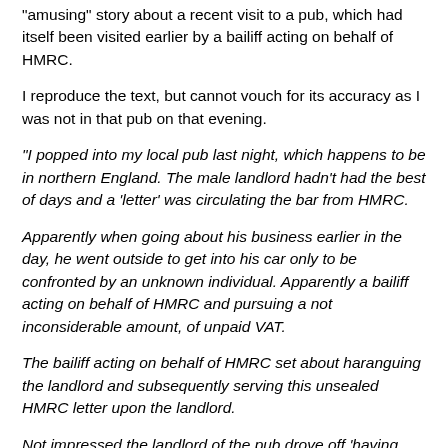"amusing" story about a recent visit to a pub, which had itself been visited earlier by a bailiff acting on behalf of HMRC.
I reproduce the text, but cannot vouch for its accuracy as I was not in that pub on that evening.
"I popped into my local pub last night, which happens to be in northern England. The male landlord hadn't had the best of days and a 'letter' was circulating the bar from HMRC.
Apparently when going about his business earlier in the day, he went outside to get into his car only to be confronted by an unknown individual. Apparently a bailiff acting on behalf of HMRC and pursuing a not inconsiderable amount, of unpaid VAT.
The bailiff acting on behalf of HMRC set about haranguing the landlord and subsequently serving this unsealed HMRC letter upon the landlord.
Not impressed the landlord of the pub drove off 'having had enough'. (You can imagine the conversation, and fill in the